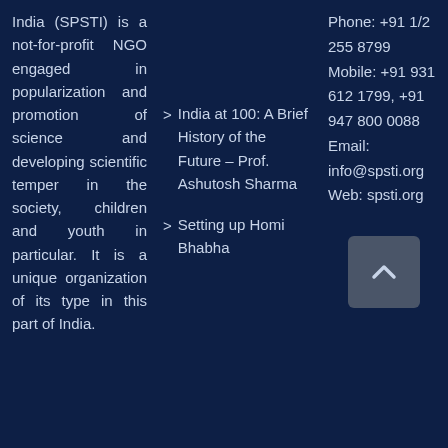India (SPSTI) is a not-for-profit NGO engaged in popularization and promotion of science and developing scientific temper in the society, children and youth in particular. It is a unique organization of its type in this part of India.
India at 100: A Brief History of the Future – Prof. Ashutosh Sharma
Setting up Homi Bhabha
Phone: +91 1/2 255 8799
Mobile: +91 931 612 1799, +91 947 800 0088
Email: info@spsti.org
Web: spsti.org